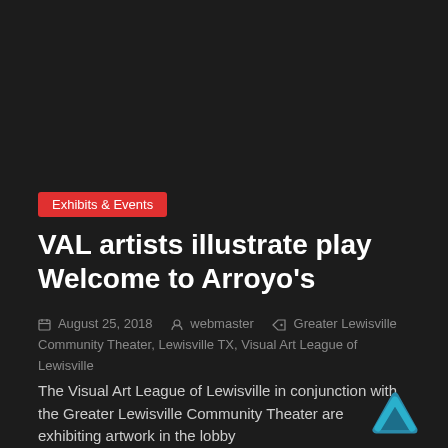Exhibits & Events
VAL artists illustrate play Welcome to Arroyo's
August 25, 2018   webmaster   Greater Lewisville Community Theater, Lewisville TX, Visual Art League of Lewisville
The Visual Art League of Lewisville in conjunction with the Greater Lewisville Community Theater are exhibiting artwork in the lobby
Read more